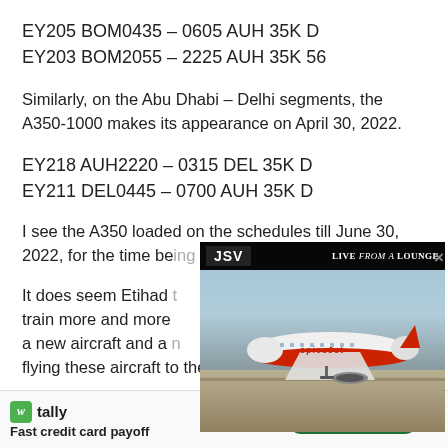EY205 BOM0435 – 0605 AUH 35K D
EY203 BOM2055 – 2225 AUH 35K 56
Similarly, on the Abu Dhabi – Delhi segments, the A350-1000 makes its appearance on April 30, 2022.
EY218 AUH2220 – 0315 DEL 35K D
EY211 DEL0445 – 0700 AUH 35K D
I see the A350 loaded on the schedules till June 30, 2022, for the time be[ing].
[Figure (screenshot): Video overlay widget showing JSV badge and Live from a Lounge branding, with a SpiceJet aircraft on a tarmac visible in the video frame. A close (×) button is in the top right.]
It does seem Etihad [is ramping up operations and working to] train more and more [crew on] a new aircraft and a [new cabin before] flying these aircraft to the longer missions where they
[Figure (screenshot): Bottom advertisement bar: Tally app ad with green icon, 'Fast credit card payoff' tagline, and a 'Download Now' button in dark green. Close (×) button on far right.]